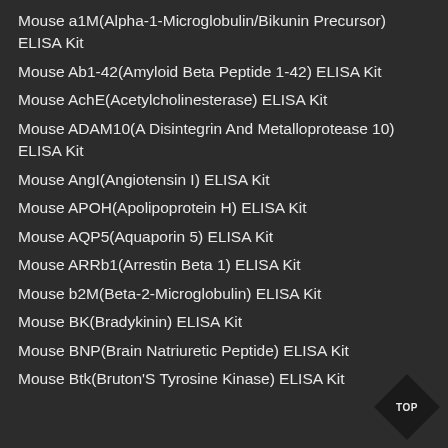Mouse a1M(Alpha-1-Microglobulin/Bikunin Precursor) ELISA Kit
Mouse Ab1-42(Amyloid Beta Peptide 1-42) ELISA Kit
Mouse AchE(Acetylcholinesterase) ELISA Kit
Mouse ADAM10(A Disintegrin And Metalloprotease 10) ELISA Kit
Mouse AngI(Angiotensin I) ELISA Kit
Mouse APOH(Apolipoprotein H) ELISA Kit
Mouse AQP5(Aquaporin 5) ELISA Kit
Mouse ARRb1(Arrestin Beta 1) ELISA Kit
Mouse b2M(Beta-2-Microglobulin) ELISA Kit
Mouse BK(Bradykinin) ELISA Kit
Mouse BNP(Brain Natriuretic Peptide) ELISA Kit
Mouse Btk(Bruton'S Tyrosine Kinase) ELISA Kit